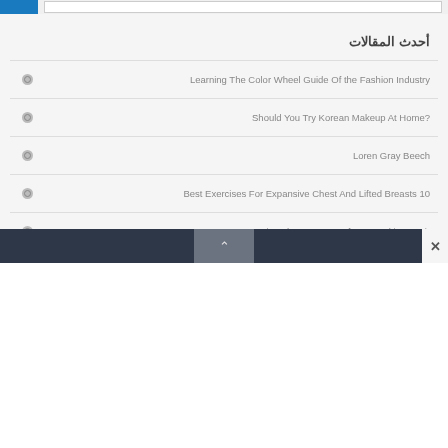أحدث المقالات
Learning The Color Wheel Guide Of the Fashion Industry
Should You Try Korean Makeup At Home?
Loren Gray Beech
Best Exercises For Expansive Chest And Lifted Breasts 10
Beauty Tips That Is Just Perfect For Skin & Hair
^ ×